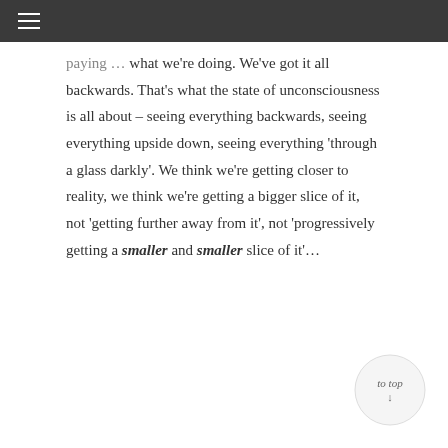≡
paying … what we're doing. We've got it all backwards. That's what the state of unconsciousness is all about – seeing everything backwards, seeing everything upside down, seeing everything 'through a glass darkly'. We think we're getting closer to reality, we think we're getting a bigger slice of it, not 'getting further away from it', not 'progressively getting a smaller and smaller slice of it'…
[Figure (other): Circular 'to top' navigation button with script text]